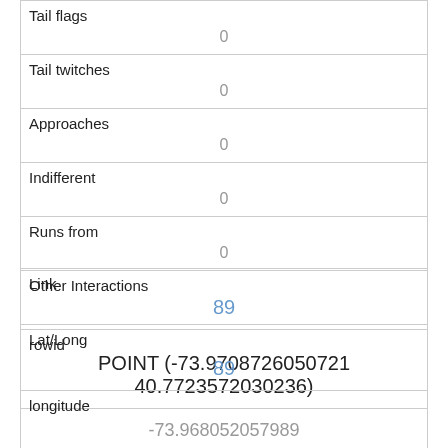| Tail flags | 0 |
| Tail twitches | 0 |
| Approaches | 0 |
| Indifferent | 0 |
| Runs from | 0 |
| Other Interactions |  |
| Lat/Long | POINT (-73.9708726050721 40.7723572030236) |
| Link | 89 |
| rowid | 89 |
| longitude | -73.968052057989 |